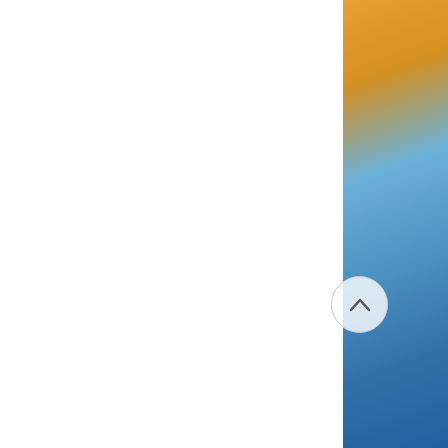benefit from a good therapist now and again. Trans folks undergoing a transitioning process, whether it be social, hormonal, or surgical, are going to be under an awful lot of stress and adjustments. In addition, there will almost certainly be some accompanying changes in their social structure during this time, which is usually the most stressful external source of badness. Even the most well-supported trans individual will undergo significant adjustments mentally, physically, and spiritually during the transition process. And these can be mitigated to a high degree through a good therapy relationship.